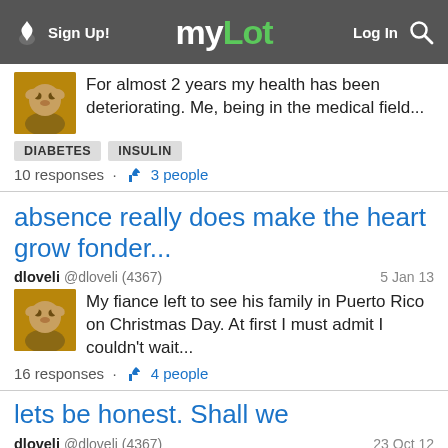myLot — Sign Up! | Log In
For almost 2 years my health has been deteriorating. Me, being in the medical field...
DIABETES   INSULIN
10 responses · 3 people
absence really does make the heart grow fonder...
dloveli @dloveli (4367)   5 Jan 13
My fiance left to see his family in Puerto Rico on Christmas Day. At first I must admit I couldn't wait...
16 responses · 4 people
lets be honest. Shall we
dloveli @dloveli (4367)   23 Oct 12
No matter whether your from, I'm sure you've been subjected to the upcoming presidential election. I...